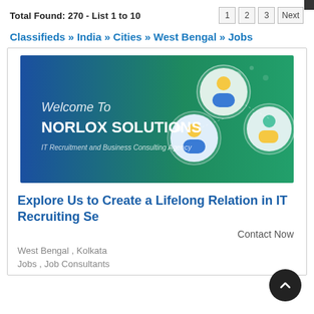Total Found: 270 - List 1 to 10
Classifieds » India » Cities » West Bengal » Jobs
[Figure (illustration): Banner image for Norlox Solutions showing 'Welcome To NORLOX SOLUTIONS - IT Recruitment and Business Consulting Agency' with illustrated professionals on a blue-to-green gradient background.]
Explore Us to Create a Lifelong Relation in IT Recruiting Se
Contact Now
West Bengal , Kolkata
Jobs , Job Consultants